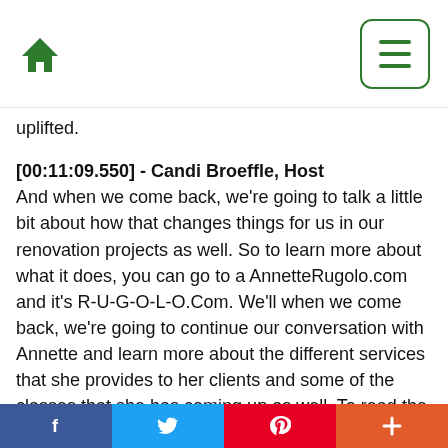[Figure (other): Navigation bar with green home icon on left and green hamburger menu button on right]
uplifted.
[00:11:09.550] - Candi Broeffle, Host
And when we come back, we're going to talk a little bit about how that changes things for us in our renovation projects as well. So to learn more about what it does, you can go to a AnnetteRugolo.com and it's R-U-G-O-L-O.Com. We'll when we come back, we're going to continue our conversation with Annette and learn more about the different services that she provides to her clients and some of the classes that she has coming up as well. To read the online version of Natural Awakenings magazine, visit NaturalTwinCities.com you can find a podcast to this show on AM950Radio.com on Apple and Google Podcasts. And
[Figure (other): Social media sharing buttons: Facebook (blue), Twitter (blue), Pinterest (red), Plus/share (orange-red)]